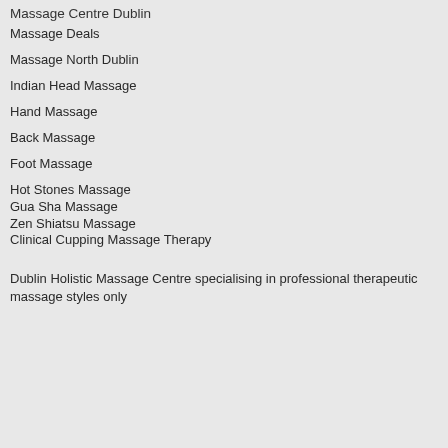Massage Centre Dublin
Massage Deals
Massage North Dublin
Indian Head Massage
Hand Massage
Back Massage
Foot Massage
Hot Stones  Massage
Gua Sha  Massage
Zen Shiatsu  Massage
Clinical Cupping  Massage Therapy
Dublin  Holistic  Massage Centre specialising in professional therapeutic massage styles only